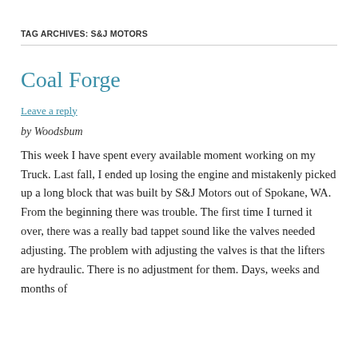TAG ARCHIVES: S&J MOTORS
Coal Forge
Leave a reply
by Woodsbum
This week I have spent every available moment working on my Truck. Last fall, I ended up losing the engine and mistakenly picked up a long block that was built by S&J Motors out of Spokane, WA. From the beginning there was trouble. The first time I turned it over, there was a really bad tappet sound like the valves needed adjusting. The problem with adjusting the valves is that the lifters are hydraulic. There is no adjustment for them. Days, weeks and months of